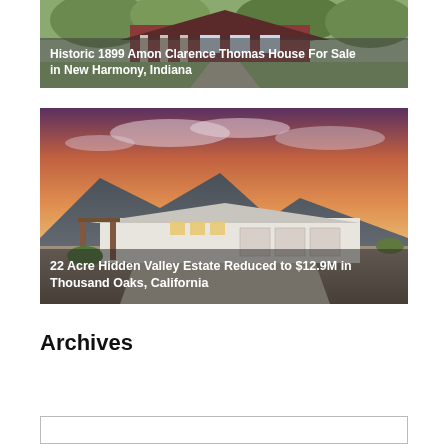[Figure (photo): Aerial view of historic 1899 Amon Clarence Thomas House with green landscaping and brick architecture in New Harmony, Indiana]
Historic 1899 Amon Clarence Thomas House For Sale in New Harmony, Indiana
[Figure (photo): Sunset photo of a large white Spanish-style estate with mountain backdrop and dramatic pink/orange sky in Thousand Oaks, California]
22 Acre Hidden Valley Estate Reduced to $12.9M in Thousand Oaks, California
Archives